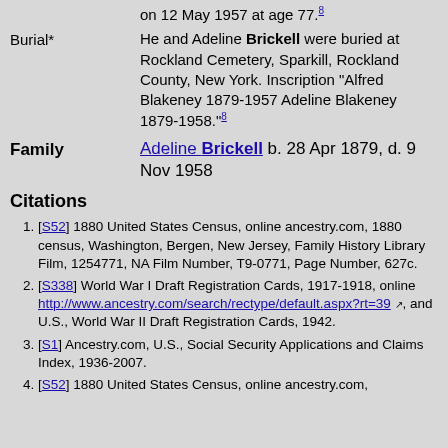on 12 May 1957 at age 77.[8]
He and Adeline Brickell were buried at Rockland Cemetery, Sparkill, Rockland County, New York. Inscription "Alfred Blakeney 1879-1957 Adeline Blakeney 1879-1958."[8]
Family  Adeline Brickell b. 28 Apr 1879, d. 9 Nov 1958
Citations
[S52] 1880 United States Census, online ancestry.com, 1880 census, Washington, Bergen, New Jersey, Family History Library Film, 1254771, NA Film Number, T9-0771, Page Number, 627c.
[S338] World War I Draft Registration Cards, 1917-1918, online http://www.ancestry.com/search/rectype/default.aspx?rt=39, and U.S., World War II Draft Registration Cards, 1942.
[S1] Ancestry.com, U.S., Social Security Applications and Claims Index, 1936-2007.
[S52] 1880 United States Census, online ancestry.com,